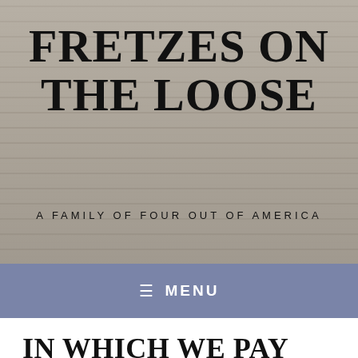[Figure (photo): Website header banner with wood plank texture background in gray/beige tones]
FRETZES ON THE LOOSE
A FAMILY OF FOUR OUT OF AMERICA
≡  MENU
IN WHICH WE PAY TO RIDE AND EXPERIENCE CLAUSTROPHOBIA IN THE CU CHI TUNNELS